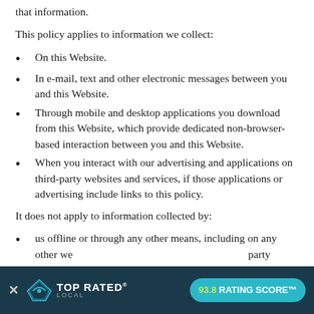that information.
This policy applies to information we collect:
On this Website.
In e-mail, text and other electronic messages between you and this Website.
Through mobile and desktop applications you download from this Website, which provide dedicated non-browser-based interaction between you and this Website.
When you interact with our advertising and applications on third-party websites and services, if those applications or advertising include links to this policy.
It does not apply to information collected by:
us offline or through any other means, including on any other websites operated by us or any third party (includ...